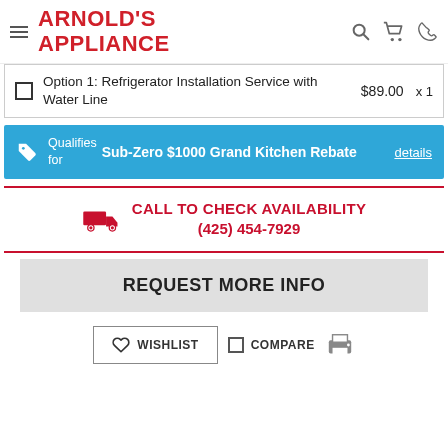Arnold's Appliance
Option 1: Refrigerator Installation Service with Water Line  $89.00  x 1
Qualifies for Sub-Zero $1000 Grand Kitchen Rebate details
CALL TO CHECK AVAILABILITY (425) 454-7929
REQUEST MORE INFO
WISHLIST  COMPARE